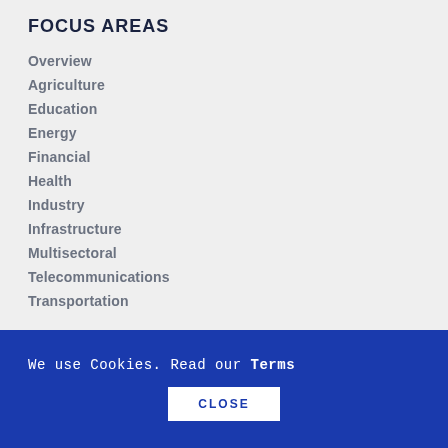FOCUS AREAS
Overview
Agriculture
Education
Energy
Financial
Health
Industry
Infrastructure
Multisectoral
Telecommunications
Transportation
We use Cookies. Read our Terms
CLOSE